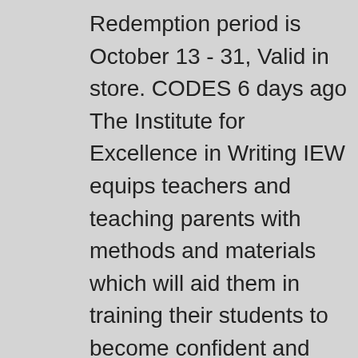Redemption period is October 13 - 31, Valid in store. CODES 6 days ago The Institute for Excellence in Writing IEW equips teachers and teaching parents with methods and materials which will aid them in training their students to become confident and competent communicators and thinkers. Should people, companies and organizations who create and pursue credible solutions for reducing poverty and inequality try to work together as much as possible and support each other even though t What is the maximum number of humans the Earth could support with current technology if it were organized optimally in terms of politics, economy, removal of ideological conflict, etc.? Three 3 year contract for repairing machining and welding equipment parts and services. We were going to get 2nd class on first train, 3rd on the second and a sleeper seat on the buses, would you recommend this? Basically